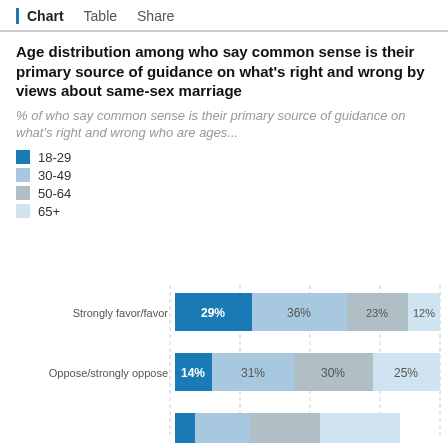Chart  Table  Share
Age distribution among who say common sense is their primary source of guidance on what's right and wrong by views about same-sex marriage
% of who say common sense is their primary source of guidance on what's right and wrong who are ages...
18-29
30-49
50-64
65+
[Figure (stacked-bar-chart): Age distribution among who say common sense is their primary source of guidance on what's right and wrong by views about same-sex marriage]